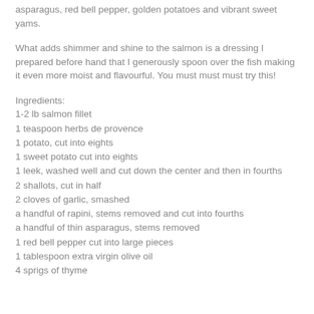asparagus, red bell pepper, golden potatoes and vibrant sweet yams.
What adds shimmer and shine to the salmon is a dressing I prepared before hand that I generously spoon over the fish making it even more moist and flavourful. You must must must try this!
Ingredients:
1-2 lb salmon fillet
1 teaspoon herbs de provence
1 potato, cut into eights
1 sweet potato cut into eights
1 leek, washed well and cut down the center and then in fourths
2 shallots, cut in half
2 cloves of garlic, smashed
a handful of rapini, stems removed and cut into fourths
a handful of thin asparagus, stems removed
1 red bell pepper cut into large pieces
1 tablespoon extra virgin olive oil
4 sprigs of thyme